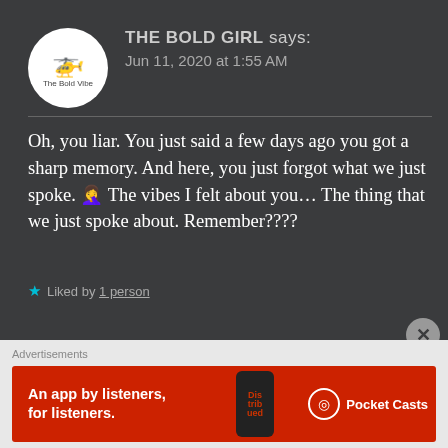THE BOLD GIRL says: Jun 11, 2020 at 1:55 AM
Oh, you liar. You just said a few days ago you got a sharp memory. And here, you just forgot what we just spoke. 🤦‍♀️ The vibes I felt about you… The thing that we just spoke about. Remember????
★ Liked by 1 person
Advertisements
[Figure (screenshot): Pocket Casts advertisement banner: red background with text 'An app by listeners, for listeners.' with a phone image and Pocket Casts logo]